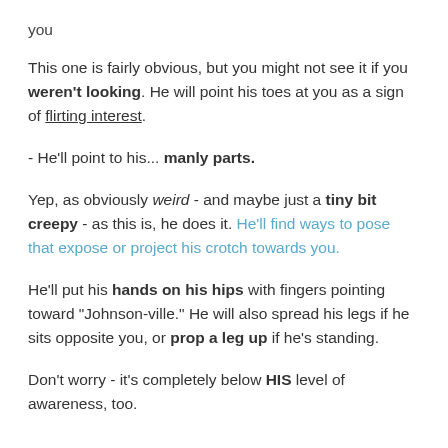you
This one is fairly obvious, but you might not see it if you weren't looking. He will point his toes at you as a sign of flirting interest.
- He'll point to his... manly parts.
Yep, as obviously weird - and maybe just a tiny bit creepy - as this is, he does it. He'll find ways to pose that expose or project his crotch towards you.
He'll put his hands on his hips with fingers pointing toward "Johnson-ville." He will also spread his legs if he sits opposite you, or prop a leg up if he's standing.
Don't worry - it's completely below HIS level of awareness, too.